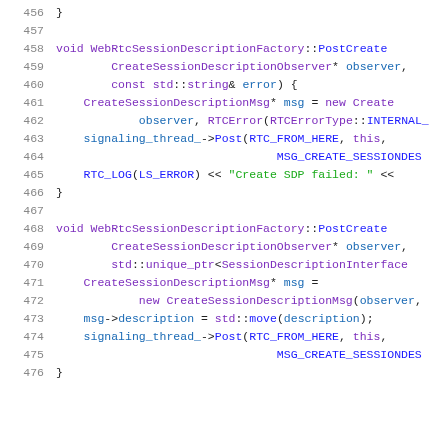[Figure (screenshot): Source code listing in C++ showing lines 456-476, with syntax highlighting. Code shows WebRtcSessionDescriptionFactory methods PostCreate with error handling and session description creation.]